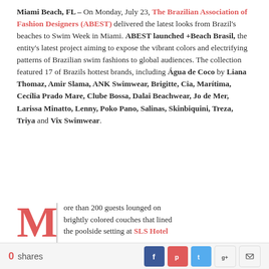Miami Beach, FL – On Monday, July 23, The Brazilian Association of Fashion Designers (ABEST) delivered the latest looks from Brazil's beaches to Swim Week in Miami. ABEST launched +Beach Brasil, the entity's latest project aiming to expose the vibrant colors and electrifying patterns of Brazilian swim fashions to global audiences. The collection featured 17 of Brazils hottest brands, including Água de Coco by Liana Thomaz, Amir Slama, ANK Swimwear, Brigitte, Cia, Marítima, Cecília Prado Mare, Clube Bossa, Dalai Beachwear, Jo de Mer, Larissa Minatto, Lenny, Poko Pano, Salinas, Skinbiquini, Treza, Triya and Vix Swimwear.
More than 200 guests lounged on brightly colored couches that lined the poolside setting at SLS Hotel
0 shares